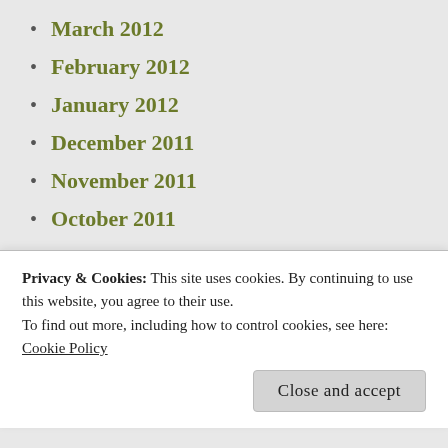March 2012
February 2012
January 2012
December 2011
November 2011
October 2011
[Figure (photo): Avatar photo of user coryan99 — circular portrait of a woman]
coryan99
Privacy & Cookies: This site uses cookies. By continuing to use this website, you agree to their use.
To find out more, including how to control cookies, see here:
Cookie Policy
Close and accept